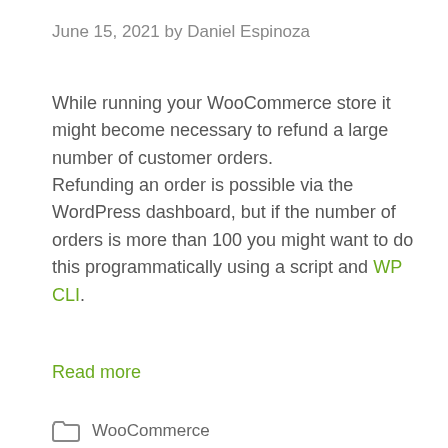June 15, 2021 by Daniel Espinoza
While running your WooCommerce store it might become necessary to refund a large number of customer orders. Refunding an order is possible via the WordPress dashboard, but if the number of orders is more than 100 you might want to do this programmatically using a script and WP CLI.
Read more
WooCommerce